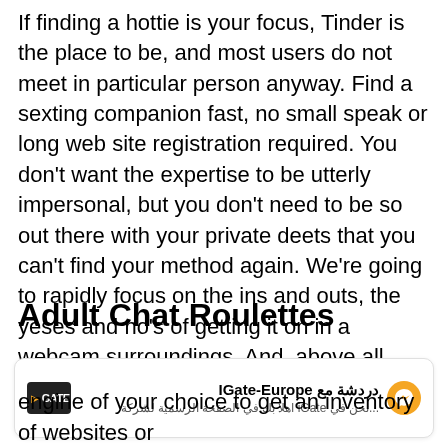If finding a hottie is your focus, Tinder is the place to be, and most users do not meet in particular person anyway. Find a sexting companion fast, no small speak or long web site registration required. You don't want the expertise to be utterly impersonal, but you don't need to be so out there with your private deets that you can't find your method again. We're going to rapidly focus on the ins and outs, the yeses and no's of getting it on in a webcam surroundings. And, above all, we're going to let you know tips on how to stay protected whereas you're having fun.
Adult Chat Roulettes
[Figure (other): Facebook Messenger chat widget for IGate-Europe showing logo, Arabic text title 'دردشة مع IGate-Europe' and subtitle '...نحن في iGate اهلا بك في الصفحة الرسمية لشركة' with orange messenger icon]
engine of your choice to get an inventory of websites or